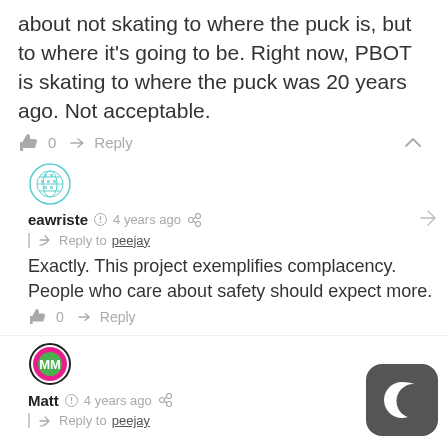about not skating to where the puck is, but to where it’s going to be. Right now, PBOT is skating to where the puck was 20 years ago. Not acceptable.
👍 0  ► Reply  ∧
[Figure (illustration): Globe/network avatar icon for user eawriste]
eawriste © 4 years ago  share  link
Reply to peejay
Exactly. This project exemplifies complacency. People who care about safety should expect more.
👍 0  ► Reply
[Figure (illustration): MM logo avatar icon for user Matt, green/pink circular badge]
Matt © 4 years ago  share  link
Reply to peejay
[Figure (illustration): Dark mode toggle button, dark grey rounded square with crescent moon icon]